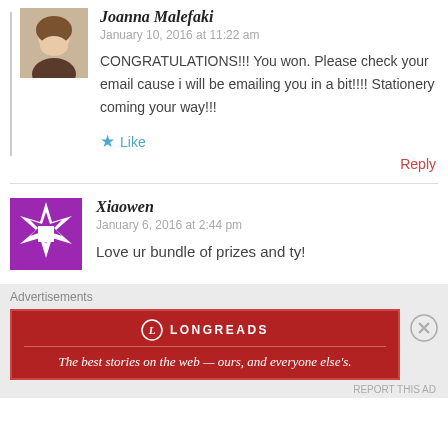[Figure (photo): Avatar photo of Joanna Malefaki, a woman smiling]
Joanna Malefaki
January 10, 2016 at 11:22 am
CONGRATULATIONS!!! You won. Please check your email cause i will be emailing you in a bit!!!! Stationery coming your way!!!
Like
Reply
[Figure (illustration): Avatar icon for Xiaowen, purple geometric quilt star pattern]
Xiaowen
January 6, 2016 at 2:44 pm
Love ur bundle of prizes and ty!
Advertisements
[Figure (screenshot): Longreads advertisement banner. Red background with Longreads logo and text: The best stories on the web — ours, and everyone else's.]